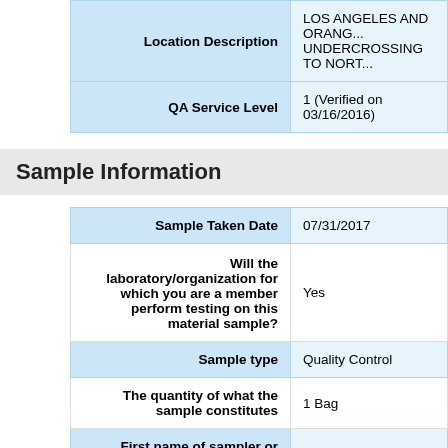| Location Description | LOS ANGELES AND ORANGE UNDERCROSSING TO NORT... |
| --- | --- |
| Location Description | LOS ANGELES AND ORANGE UNDERCROSSING TO NORT... |
| QA Service Level | 1 (Verified on 03/16/2016) |
Sample Information
| Field | Value |
| --- | --- |
| Sample Taken Date | 07/31/2017 |
| Will the laboratory/organization for which you are a member perform testing on this material sample? | Yes |
| Sample type | Quality Control |
| The quantity of what the sample constitutes | 1 Bag |
| First name of sampler or witnessed by | Ryan |
| Title of sampler | QC Field Technician |